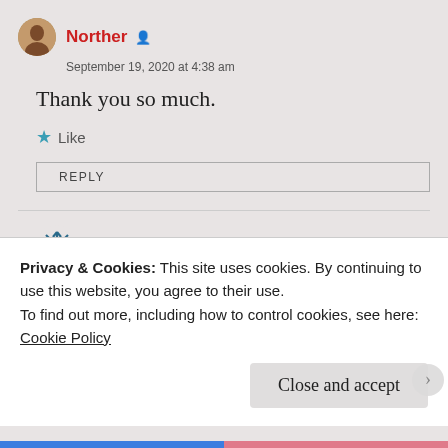Norther
September 19, 2020 at 4:38 am
Thank you so much.
Like
REPLY
Aushana
September 20, 2020 at 9:55 am
Privacy & Cookies: This site uses cookies. By continuing to use this website, you agree to their use.
To find out more, including how to control cookies, see here:
Cookie Policy
Close and accept